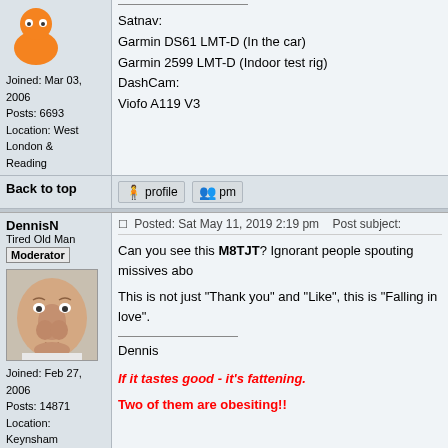Satnav: Garmin DS61 LMT-D (In the car) Garmin 2599 LMT-D (Indoor test rig) DashCam: Viofo A119 V3
Joined: Mar 03, 2006 Posts: 6693 Location: West London & Reading
Back to top
DennisN Tired Old Man Moderator
Posted: Sat May 11, 2019 2:19 pm Post subject:
Can you see this M8TJT? Ignorant people spouting missives abo
This is not just "Thank you" and "Like", this is "Falling in love".
Dennis
If it tastes good - it's fattening.
Two of them are obesiting!!
Joined: Feb 27, 2006 Posts: 14871 Location: Keynsham
Back to top
Posted: Today Post subject: Pocket GPS Advertising